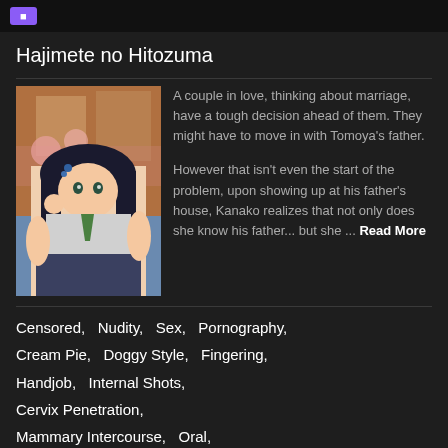Hajimete no Hitozuma
[Figure (illustration): Anime-style illustration of a female character]
A couple in love, thinking about marriage, have a tough decision ahead of them. They might have to move in with Tomoya's father.

However that isn't even the start of the problem, upon showing up at his father's house, Kanako realizes that not only does she know his father... but she ... Read More
Censored,   Nudity,   Sex,   Pornography,   Cream Pie,   Doggy Style,   Fingering,   Handjob,   Internal Shots,   Cervix Penetration,   Mammary Intercourse,   Oral,   Cunnilingus,   Fellatio,   Throat Fucking,